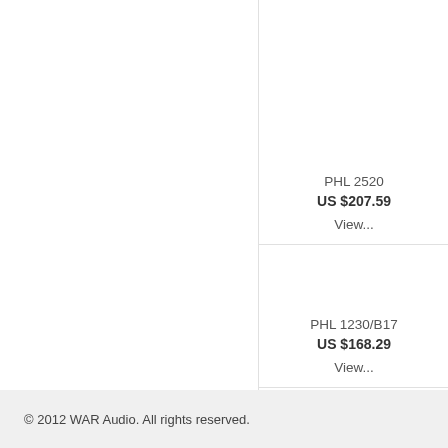PHL 2520
US $207.59
View...
PHL 1230/B17
US $168.29
View...
© 2012 WAR Audio. All rights reserved.